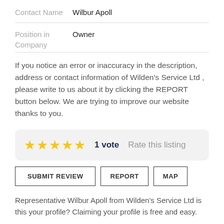Contact Name   Wilbur Apoll
Position in Company   Owner
If you notice an error or inaccuracy in the description, address or contact information of Wilden's Service Ltd , please write to us about it by clicking the REPORT button below. We are trying to improve our website thanks to you.
1 vote   Rate this listing
SUBMIT REVIEW   REPORT   MAP
Representative Wilbur Apoll from Wilden's Service Ltd is this your profile? Claiming your profile is free and easy.